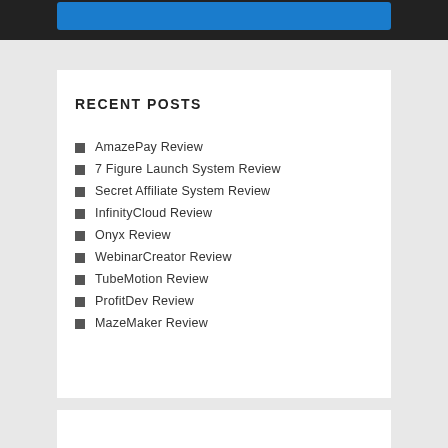RECENT POSTS
AmazePay Review
7 Figure Launch System Review
Secret Affiliate System Review
InfinityCloud Review
Onyx Review
WebinarCreator Review
TubeMotion Review
ProfitDev Review
MazeMaker Review